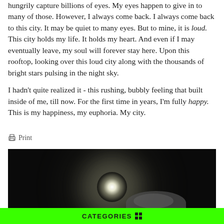hungrily capture billions of eyes. My eyes happen to give in to many of those. However, I always come back. I always come back to this city. It may be quiet to many eyes. But to mine, it is loud. This city holds my life. It holds my heart. And even if I may eventually leave, my soul will forever stay here. Upon this rooftop, looking over this loud city along with the thousands of bright stars pulsing in the night sky.

I hadn't quite realized it - this rushing, bubbly feeling that built inside of me, till now. For the first time in years, I'm fully happy. This is my happiness, my euphoria. My city.
Print
[Figure (photo): Night sky photograph showing a bright white full moon with a luminous glow against a very dark/black sky, with cloud formations visible at the lower right.]
CATEGORIES